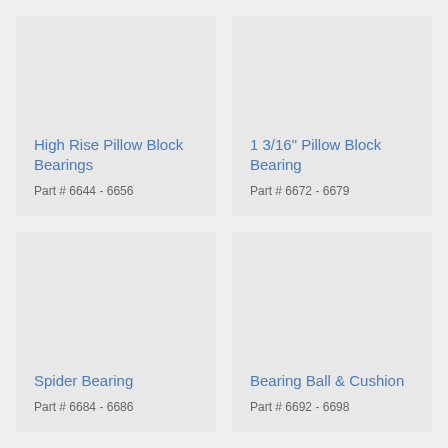[Figure (other): Product card for High Rise Pillow Block Bearings, Part # 6644 - 6656, gray background placeholder image]
[Figure (other): Product card for 1 3/16" Pillow Block Bearing, Part # 6672 - 6679, gray background placeholder image]
[Figure (other): Product card for Spider Bearing, Part # 6684 - 6686, gray background placeholder image]
[Figure (other): Product card for Bearing Ball & Cushion, Part # 6692 - 6698, gray background placeholder image]